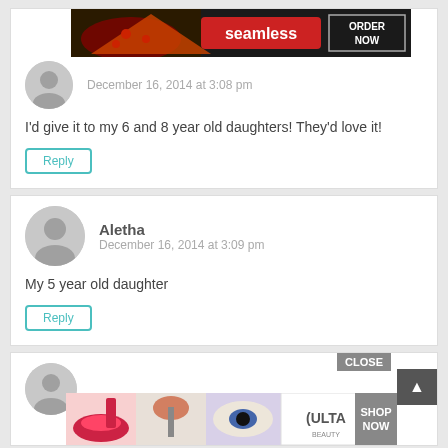[Figure (screenshot): Seamless pizza ad banner with ORDER NOW button]
December 16, 2014 at 3:08 pm
I'd give it to my 6 and 8 year old daughters! They'd love it!
Reply
Aletha
December 16, 2014 at 3:09 pm
My 5 year old daughter
Reply
CLOSE
[Figure (photo): Ulta beauty ad with makeup images, SHOP NOW button]
SHOP NOW